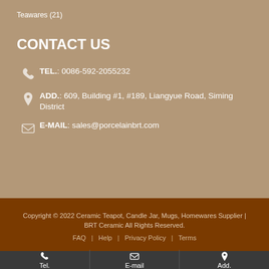Teawares (21)
CONTACT US
TEL.: 0086-592-2055232
ADD.: 609, Building #1, #189, Liangyue Road, Siming District
E-MAIL: sales@porcelainbrt.com
Copyright © 2022 Ceramic Teapot, Candle Jar, Mugs, Homewares Supplier | BRT Ceramic All Rights Reserved.
FAQ | Help | Privacy Policy | Terms
Tel. | E-mail | Add.